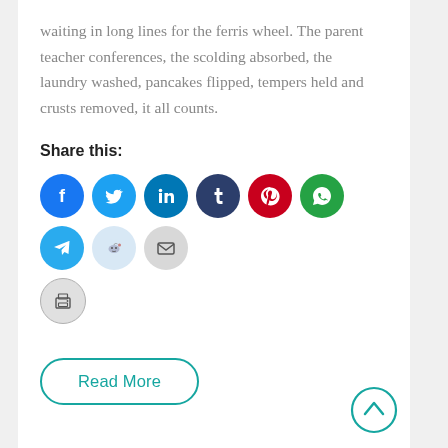waiting in long lines for the ferris wheel. The parent teacher conferences, the scolding absorbed, the laundry washed, pancakes flipped, tempers held and crusts removed, it all counts.
Share this:
[Figure (infographic): Row of social media share icon buttons: Facebook (blue), Twitter (cyan), LinkedIn (dark blue), Tumblr (dark navy), Pinterest (red), WhatsApp (green), Telegram (blue), Reddit (light blue), Email (grey), and a Print button (grey) on the second row.]
Read More
[Figure (infographic): Back-to-top circular button with upward chevron arrow, teal border.]